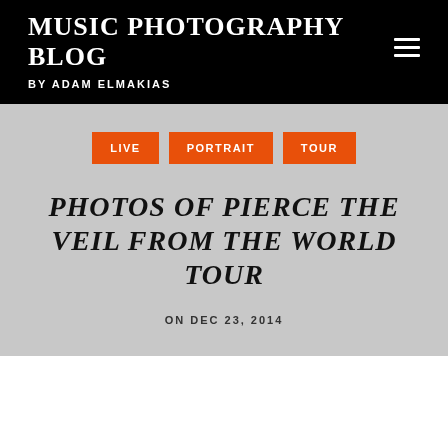MUSIC PHOTOGRAPHY BLOG
BY ADAM ELMAKIAS
LIVE
PORTRAIT
TOUR
PHOTOS OF PIERCE THE VEIL FROM THE WORLD TOUR
ON DEC 23, 2014